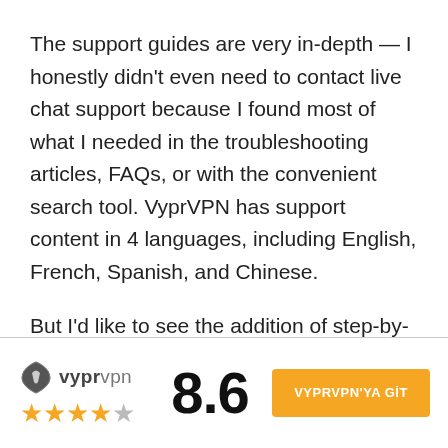The support guides are very in-depth — I honestly didn't even need to contact live chat support because I found most of what I needed in the troubleshooting articles, FAQs, or with the convenient search tool. VyprVPN has support content in 4 languages, including English, French, Spanish, and Chinese.
But I'd like to see the addition of step-by-step guides for how to download and install all of VyprVPN's apps, like many other VPNs offer, including ProtonVPN, CyberGhost VPN, and TunnelBear — ExpressVPN even provides video
[Figure (logo): VyprVPN logo with shield icon and brand name]
8.6
4 out of 5 stars rating
VYPRVPN'YA GİT